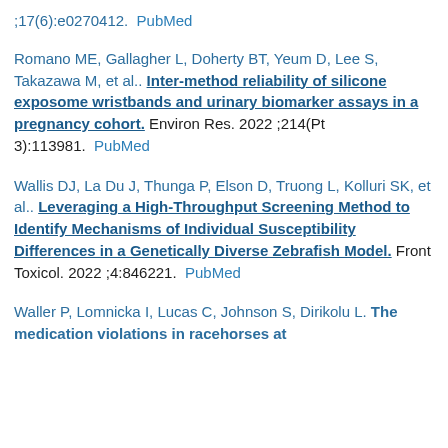;17(6):e0270412.  PubMed
Romano ME, Gallagher L, Doherty BT, Yeum D, Lee S, Takazawa M, et al.. Inter-method reliability of silicone exposome wristbands and urinary biomarker assays in a pregnancy cohort. Environ Res. 2022 ;214(Pt 3):113981.  PubMed
Wallis DJ, La Du J, Thunga P, Elson D, Truong L, Kolluri SK, et al.. Leveraging a High-Throughput Screening Method to Identify Mechanisms of Individual Susceptibility Differences in a Genetically Diverse Zebrafish Model. Front Toxicol. 2022 ;4:846221.  PubMed
Waller P, Lomnicka I, Lucas C, Johnson S, Dirikolu L. The medication violations in racehorses at